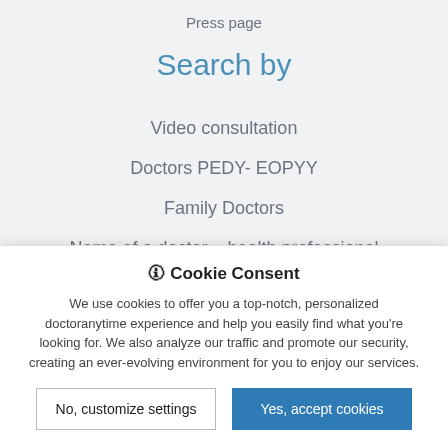Press page
Search by
Video consultation
Doctors PEDY- EOPYY
Family Doctors
Name of a doctor – health professional
Area
Specialty
🛈 Cookie Consent
We use cookies to offer you a top-notch, personalized doctoranytime experience and help you easily find what you're looking for. We also analyze our traffic and promote our security, creating an ever-evolving environment for you to enjoy our services.
No, customize settings | Yes, accept cookies